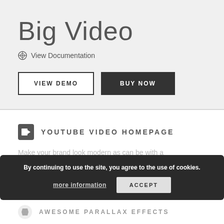Big Video
⊙ View Documentation
VIEW DEMO
BUY NOW
YOUTUBE VIDEO HOMEPAGE
Make your brand look modern as can be with a YouTube video homepage.
By continuing to use the site, you agree to the use of cookies.
more information
ACCEPT
AWESOME PARALLAX EFFECTS